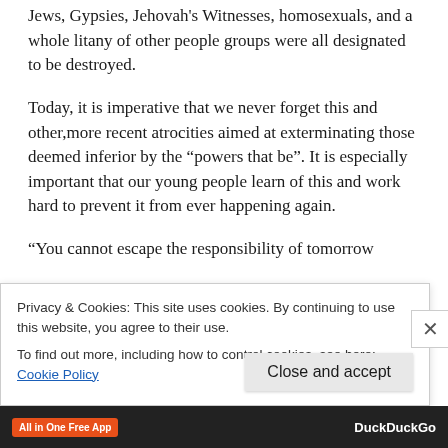Jews, Gypsies, Jehovah's Witnesses, homosexuals, and a whole litany of other people groups were all designated to be destroyed.
Today, it is imperative that we never forget this and other,more recent atrocities aimed at exterminating those deemed inferior by the "powers that be". It is especially important that our young people learn of this and work hard to prevent it from ever happening again.
“You cannot escape the responsibility of tomorrow...
Privacy & Cookies: This site uses cookies. By continuing to use this website, you agree to their use.
To find out more, including how to control cookies, see here: Cookie Policy